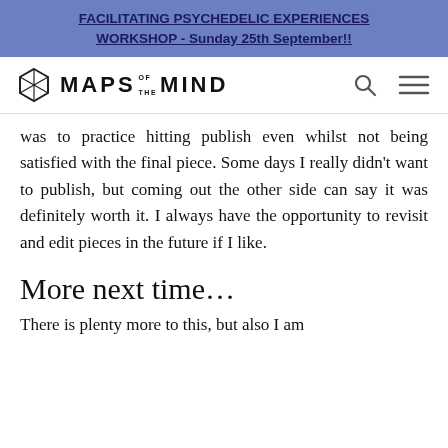FACILITATING PSYCHEDELIC EXPERIENCES WORKSHOP - Sunday 25th September!!
[Figure (logo): Maps of the Mind logo with hexagonal icon and navigation icons (search and hamburger menu)]
was to practice hitting publish even whilst not being satisfied with the final piece. Some days I really didn't want to publish, but coming out the other side can say it was definitely worth it. I always have the opportunity to revisit and edit pieces in the future if I like.
More next time…
There is plenty more to this, but also I am